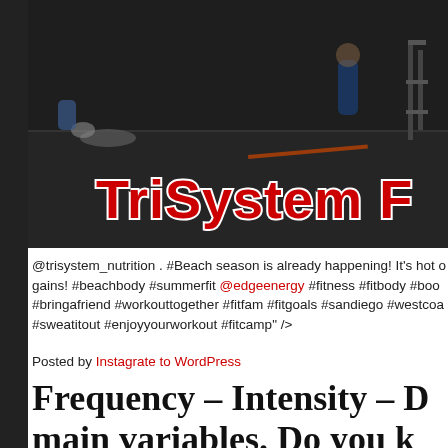[Figure (photo): Gym/fitness class photo with people exercising on a dark floor, with 'TriSystem F...' text overlay in bold red with white outline]
@trisystem_nutrition . #Beach season is already happening! It's hot o gains! #beachbody #summerfit @edgeenergy #fitness #fitbody #boo #bringafriend #workouttogether #fitfam #fitgoals #sandiego #westcoa #sweatitout #enjoyyourworkout #fitcamp" />
Posted by Instagrate to WordPress
Frequency – Intensity – D main variables. Do you k effects metabolism the m